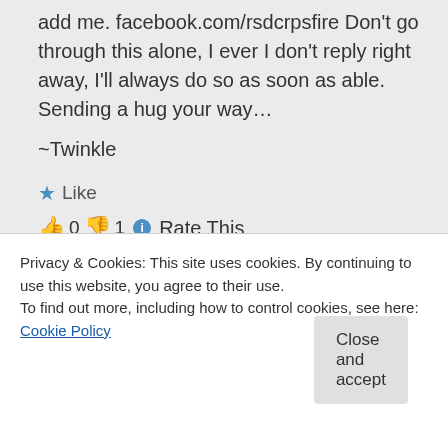add me. facebook.com/rsdcrpsfire Don't go through this alone, I ever I don't reply right away, I'll always do so as soon as able. Sending a hug your way…
~Twinkle
★ Like
👍 0 👎 1 ℹ Rate This
Privacy & Cookies: This site uses cookies. By continuing to use this website, you agree to their use. To find out more, including how to control cookies, see here: Cookie Policy
Close and accept
40 yr old male husband and father